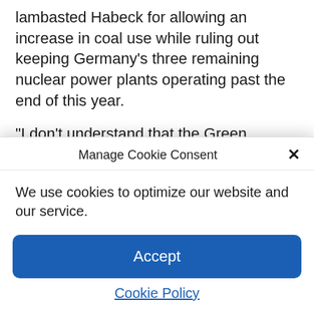lambasted Habeck for allowing an increase in coal use while ruling out keeping Germany's three remaining nuclear power plants operating past the end of this year.
“I don’t understand that the Green climate minister prefers to let more coal plants run longer, rather than carbon neutral nuclear power plants,” Jens Spahn, deputy head of
Manage Cookie Consent
×
We use cookies to optimize our website and our service.
Accept
Cookie Policy